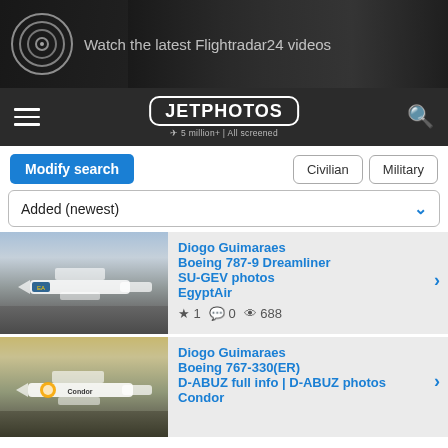[Figure (screenshot): Flightradar24 advertisement banner showing aircraft jet engine and text 'Watch the latest Flightradar24 videos']
JETPHOTOS — 5 million+ | All screened
Modify search | Civilian | Military
Added (newest)
[Figure (photo): EgyptAir Boeing 787-9 Dreamliner on tarmac]
Diogo Guimaraes
Boeing 787-9 Dreamliner
SU-GEV photos
EgyptAir
★ 1  💬 0  👁 688
[Figure (photo): Condor Boeing 767-330(ER) on tarmac]
Diogo Guimaraes
Boeing 767-330(ER)
D-ABUZ full info | D-ABUZ photos
Condor